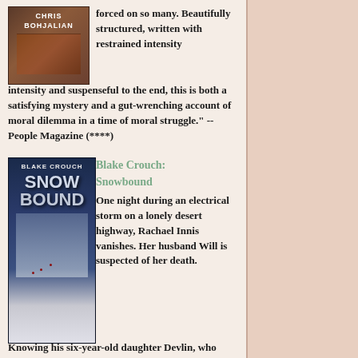[Figure (illustration): Book cover for a Chris Bohjalian novel, brown/dark tones with author name visible]
forced on so many. Beautifully structured, written with restrained intensity and suspenseful to the end, this is both a satisfying mystery and a gut-wrenching account of moral dilemma in a time of moral struggle." --People Magazine (****)
[Figure (illustration): Book cover for Blake Crouch's Snowbound, dark blue/grey tones with snow imagery and footprints]
Blake Crouch: Snowbound
One night during an electrical storm on a lonely desert highway, Rachael Innis vanishes. Her husband Will is suspected of her death. Knowing his six-year-old daughter Devlin, who suffers an incurable illness, has no one now but her father to care for her, he takes his daughter and flees to avoid arrest. Will and Devlin carve out a new life for themselves under new names in a